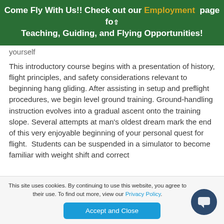Come Fly With Us!! Check out our Employment page for Teaching, Guiding, and Flying Opportunities!
yourself
This introductory course begins with a presentation of history, flight principles, and safety considerations relevant to beginning hang gliding. After assisting in setup and preflight procedures, we begin level ground training. Ground-handling instruction evolves into a gradual ascent onto the training slope. Several attempts at man's oldest dream mark the end of this very enjoyable beginning of your personal quest for flight. Students can be suspended in a simulator to become familiar with weight shift and correct
This site uses cookies. By continuing to use this website, you agree to their use. To find out more, view our Privacy Policy.
Accept and Close